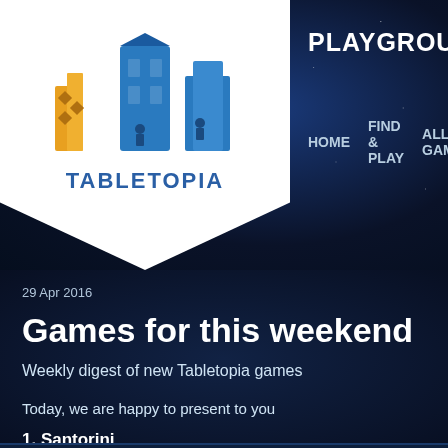[Figure (logo): Tabletopia logo: colorful building/city icon with orange and blue tones, white shield background with pentagon clip. Text 'TABLETOPIA' in blue below icon.]
PLAYGROUND   WORKS
HOME   FIND & PLAY   ALL GAM
29 Apr 2016
Games for this weekend
Weekly digest of new Tabletopia games
Today, we are happy to present to you
1. Santorini
[Figure (photo): Bottom portion of a Santorini board game promotional image showing miniature figures and a white-domed blue building on a dark starry background.]